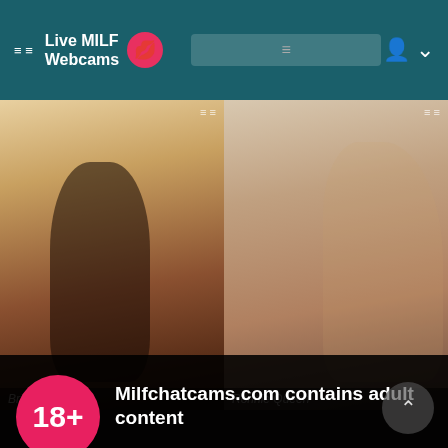Live MILF Webcams
[Figure (photo): Two side-by-side webcam preview images of women]
Brianna
Ronnie Queen
Milfchatcams.com contains adult content
By using the site, you acknowledge you have read our Privacy Policy, and agree to our Terms and Conditions.
We use cookies to optimize your experience, analyze traffic, and deliver more personalized service. To learn more, please see our Privacy Policy.